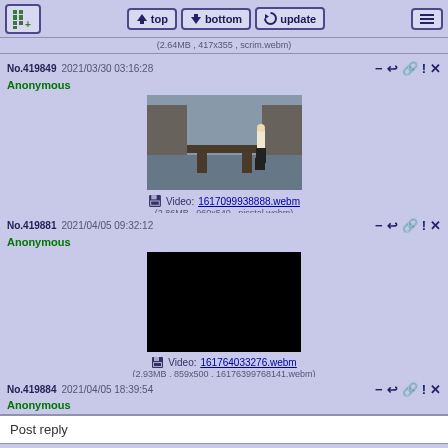top | bottom | update
(2.64MB , 417x355 , scrim.webm)
No.419849  2021/03/30 03:16:28
Anonymous
Video: 1617099938888.webm
(2.86MB , 960x540 , pisstal.webm)
No.419881  2021/04/05 09:32:12
Anonymous
Video: 161764033276.webm
(2.93MB , 859x500 , 16176399768141.webm)
No.419884  2021/04/05 18:39:54
Anonymous
Post reply